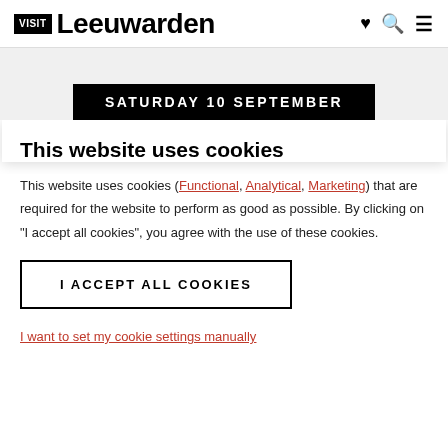VISIT Leeuwarden
[Figure (other): Grey header area with black banner reading SATURDAY 10 SEPTEMBER]
This website uses cookies
This website uses cookies (Functional, Analytical, Marketing) that are required for the website to perform as good as possible. By clicking on "I accept all cookies", you agree with the use of these cookies.
I ACCEPT ALL COOKIES
I want to set my cookie settings manually